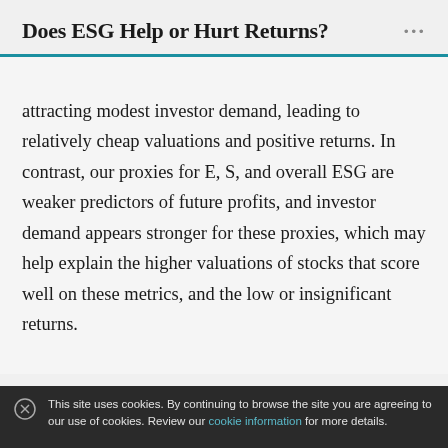Does ESG Help or Hurt Returns?
attracting modest investor demand, leading to relatively cheap valuations and positive returns. In contrast, our proxies for E, S, and overall ESG are weaker predictors of future profits, and investor demand appears stronger for these proxies, which may help explain the higher valuations of stocks that score well on these metrics, and the low or insignificant returns.
This site uses cookies. By continuing to browse the site you are agreeing to our use of cookies. Review our cookie information for more details.